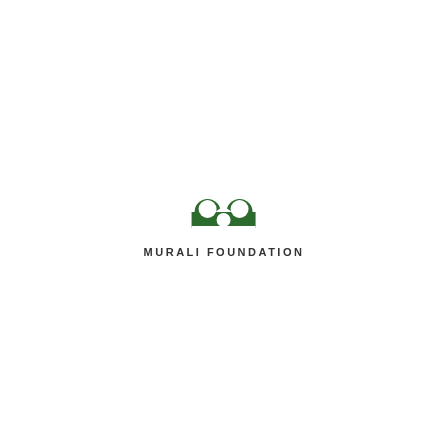[Figure (logo): Murali Foundation logo: a dark green stylized letter M with two rounded humps, above the text MURALI FOUNDATION in bold dark gray uppercase letters with wide letter-spacing.]